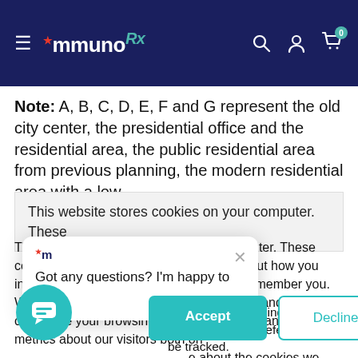ImmunoDx — website header with navigation icons
Note: A, B, C, D, E, F and G represent the old city center, the presidential office and the residential area, the public residential area from previous planning, the modern residential area with a low
This website stores cookies on your computer. These
This website stores cookies on your computer. These cookies are used to collect information about how you interact with our website and allow us to remember you. We use this information in order to improve and customize your browsing experience for analytics and metrics about our visitors both on this website... about the cookies we use, see our cookie policy.
Got any questions? I'm happy to help.
won't be tracked single cookie will be per your preference not to be tracked.